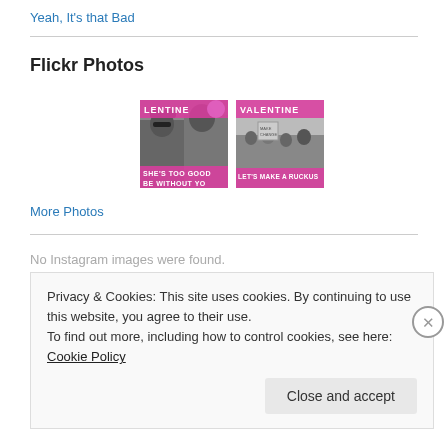Yeah, It's that Bad
Flickr Photos
[Figure (photo): Two Flickr photo thumbnails with pink overlay text. Left: black and white photo of two people (rap duo) with pink text 'LENTINE' at top and 'SHE'S TOO GOOD BE WITHOUT YO' at bottom. Right: black and white photo of crowd with signs, pink text 'VALENTINE' at top and 'LET'S MAKE A RUCKUS' at bottom.]
More Photos
No Instagram images were found.
Privacy & Cookies: This site uses cookies. By continuing to use this website, you agree to their use.
To find out more, including how to control cookies, see here: Cookie Policy
Close and accept